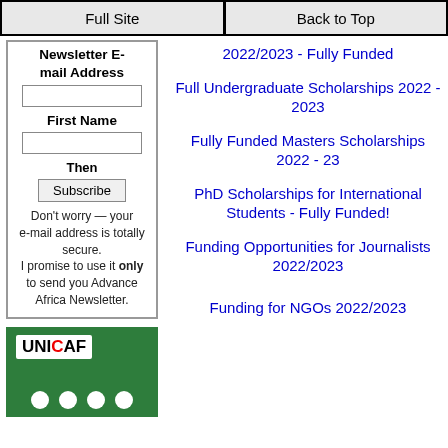Full Site | Back to Top
Newsletter E-mail Address
First Name
Then
Subscribe
Don't worry — your e-mail address is totally secure. I promise to use it only to send you Advance Africa Newsletter.
2022/2023 - Fully Funded
Full Undergraduate Scholarships 2022 - 2023
Fully Funded Masters Scholarships 2022 - 23
PhD Scholarships for International Students - Fully Funded!
Funding Opportunities for Journalists 2022/2023
[Figure (logo): UNICAF logo on green background with white dots at bottom]
Funding for NGOs 2022/2023